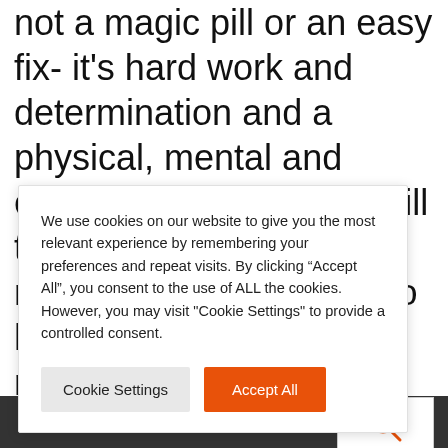not a magic pill or an easy fix- it's hard work and determination and a physical, mental and emotional change that will transform your body and mind. We are so proud to have Brooke as our member of the [month and we wish her luck on her photo] shoot
We use cookies on our website to give you the most relevant experience by remembering your preferences and repeat visits. By clicking "Accept All", you consent to the use of ALL the cookies. However, you may visit "Cookie Settings" to provide a controlled consent.